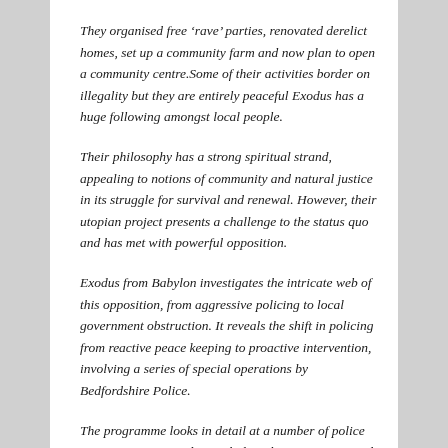They organised free ‘rave’ parties, renovated derelict homes, set up a community farm and now plan to open a community centre.Some of their activities border on illegality but they are entirely peaceful Exodus has a huge following amongst local people.
Their philosophy has a strong spiritual strand, appealing to notions of community and natural justice in its struggle for survival and renewal. However, their utopian project presents a challenge to the status quo and has met with powerful opposition.
Exodus from Babylon investigates the intricate web of this opposition, from aggressive policing to local government obstruction. It reveals the shift in policing from reactive peace keeping to proactive intervention, involving a series of special operations by Bedfordshire Police.
The programme looks in detail at a number of police actions against Exodus, including the prosecution and acquittal of